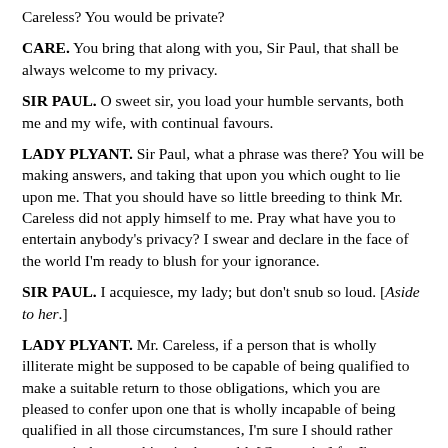Careless?  You would be private?
CARE.  You bring that along with you, Sir Paul, that shall be always welcome to my privacy.
SIR PAUL.  O sweet sir, you load your humble servants, both me and my wife, with continual favours.
LADY PLYANT.  Sir Paul, what a phrase was there?  You will be making answers, and taking that upon you which ought to lie upon me.  That you should have so little breeding to think Mr. Careless did not apply himself to me.  Pray what have you to entertain anybody's privacy?  I swear and declare in the face of the world I'm ready to blush for your ignorance.
SIR PAUL.  I acquiesce, my lady; but don't snub so loud.  [Aside to her.]
LADY PLYANT.  Mr. Careless, if a person that is wholly illiterate might be supposed to be capable of being qualified to make a suitable return to those obligations, which you are pleased to confer upon one that is wholly incapable of being qualified in all those circumstances, I'm sure I should rather attempt it than anything in the world, [Courtesies] for I'm sure there's nothing in the world that I would rather.  [Courtesies]